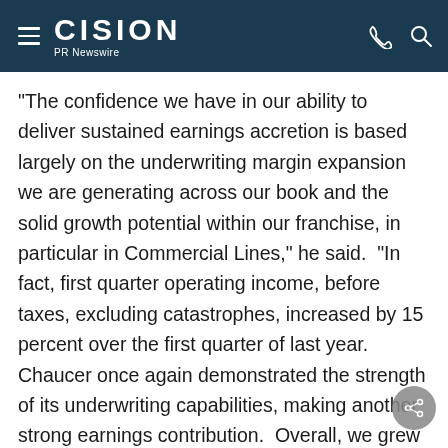CISION PR Newswire
"The confidence we have in our ability to deliver sustained earnings accretion is based largely on the underwriting margin expansion we are generating across our book and the solid growth potential within our franchise, in particular in Commercial Lines," he said.  "In fact, first quarter operating income, before taxes, excluding catastrophes, increased by 15 percent over the first quarter of last year.  Chaucer once again demonstrated the strength of its underwriting capabilities, making another strong earnings contribution.  Overall, we grew net premiums written by 9 percent, while continuing to achieve pricing increases in Core Commercial and Personal Lines, at 8 percent and 7 percent.